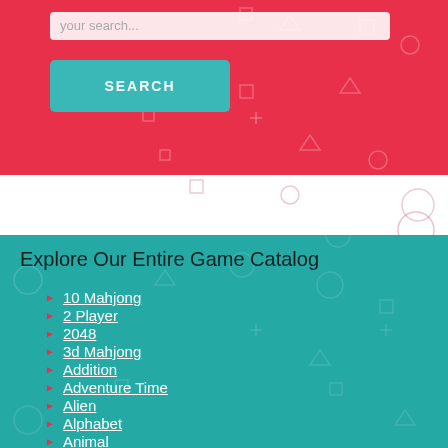[Figure (screenshot): Search bar UI element with placeholder text 'your search...' on a red background with geometric shapes]
[Figure (screenshot): SEARCH button in teal/cyan color on red background]
Explore Our Entire Game Catalog
10 Mahjong
2 Player
2048
3d Mahjong
Addition
Adventure Time
Alien
Alphabet
Animal